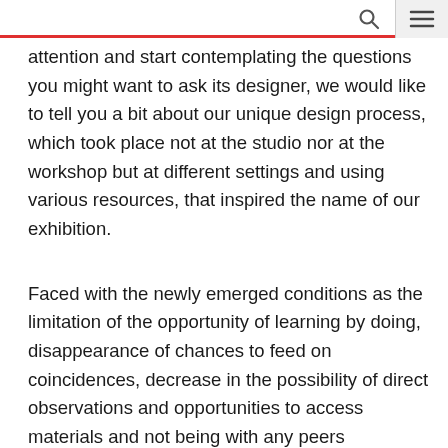[navigation bar with search and menu icons]
attention and start contemplating the questions you might want to ask its designer, we would like to tell you a bit about our unique design process, which took place not at the studio nor at the workshop but at different settings and using various resources, that inspired the name of our exhibition.
Faced with the newly emerged conditions as the limitation of the opportunity of learning by doing, disappearance of chances to feed on coincidences, decrease in the possibility of direct observations and opportunities to access materials and not being with any peers physically; we transferred ourselves to a context where we pushed the limits of possibilities of the digital world, simplified our processes, broadened our perspective in undertaking research, used what we had on hand and developed reasonable